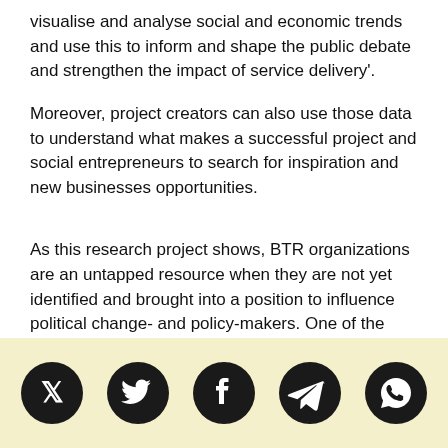visualise and analyse social and economic trends and use this to inform and shape the public debate and strengthen the impact of service delivery'.
Moreover, project creators can also use those data to understand what makes a successful project and social entrepreneurs to search for inspiration and new businesses opportunities.
As this research project shows, BTR organizations are an untapped resource when they are not yet identified and brought into a position to influence political change- and policy-makers. One of the Goteo community's multi-project promotors that began as a BTR is Civio, who describe themselves as “a civil society organization that fights for a better democracy". After 4 successful Goteo crowdfunding
[Figure (other): Social media sharing icons: Twitter, Facebook, Telegram, WhatsApp on a light yellow background]